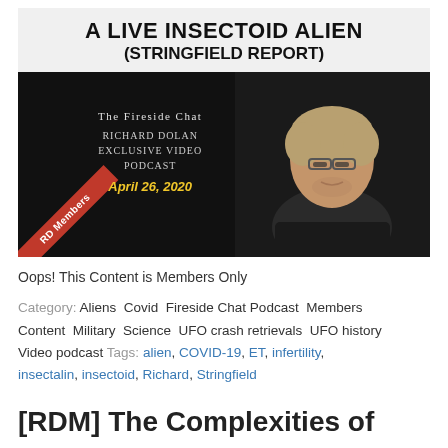[Figure (other): Podcast thumbnail card with title 'A LIVE INSECTOID ALIEN (STRINGFIELD REPORT)' and image of The Fireside Chat Richard Dolan Exclusive Video Podcast dated April 26, 2020, with photo of a man and RD Members ribbon]
Oops! This Content is Members Only
Category: Aliens Covid Fireside Chat Podcast Members Content Military Science UFO crash retrievals UFO history Video podcast Tags: alien, COVID-19, ET, infertility, insectalin, insectoid, Richard, Stringfield
[RDM] The Complexities of